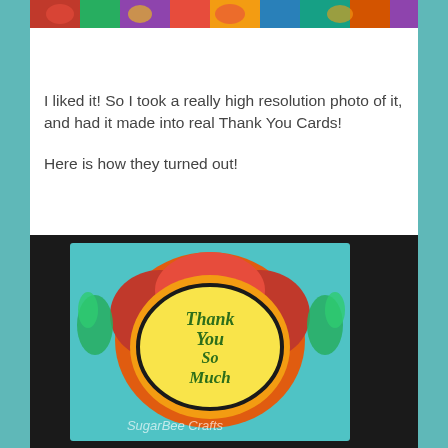[Figure (photo): Top portion of a colorful illustrated artwork with flowers, birds and foliage in bright colors]
I liked it! So I took a really high resolution photo of it, and had it made into real Thank You Cards!

Here is how they turned out!
[Figure (photo): A colorful handmade Thank You card with orange and yellow floral design, reading 'Thank You So Much' in an oval. Watermark reads SugarBee Crafts.]